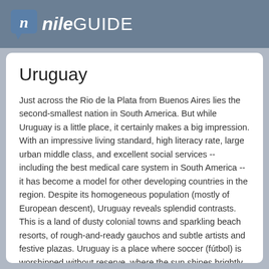nileGUIDE
Uruguay
Just across the Rio de la Plata from Buenos Aires lies the second-smallest nation in South America. But while Uruguay is a little place, it certainly makes a big impression. With an impressive living standard, high literacy rate, large urban middle class, and excellent social services -- including the best medical care system in South America -- it has become a model for other developing countries in the region. Despite its homogeneous population (mostly of European descent), Uruguay reveals splendid contrasts. This is a land of dusty colonial towns and sparkling beach resorts, of rough-and-ready gauchos and subtle artists and festive plazas. Uruguay is a place where soccer (fútbol) is worshipped without reserve, where the sun shines brightly and the air is warm, where a far cry emotive the diversity of